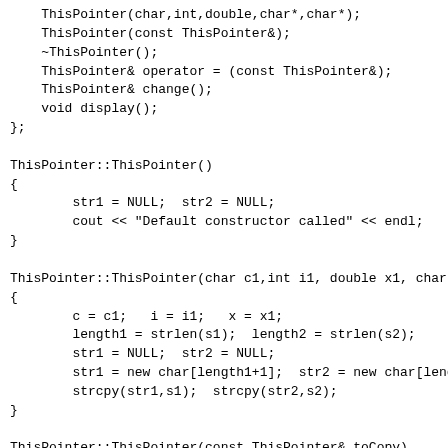ThisPointer(char,int,double,char*,char*);
    ThisPointer(const ThisPointer&);
    ~ThisPointer();
    ThisPointer& operator = (const ThisPointer&);
    ThisPointer& change();
    void display();
};

ThisPointer::ThisPointer()
{
        str1 = NULL;  str2 = NULL;
        cout << "Default constructor called" << endl;
}

ThisPointer::ThisPointer(char c1,int i1, double x1, char*
{
        c = c1;   i = i1;   x = x1;
        length1 = strlen(s1);  length2 = strlen(s2);
        str1 = NULL;  str2 = NULL;
        str1 = new char[length1+1];  str2 = new char[length2
        strcpy(str1,s1);  strcpy(str2,s2);
}

ThisPointer::ThisPointer(const ThisPointer& toCopy)
{
    c = toCopy.c;  i = toCopy.i;  x = toCopy.x;
    length1 = toCopy.length1;
    str1 = new char[length1+1];
    strcpy(str1,toCopy.str1);
    length2 = toCopy.length2;